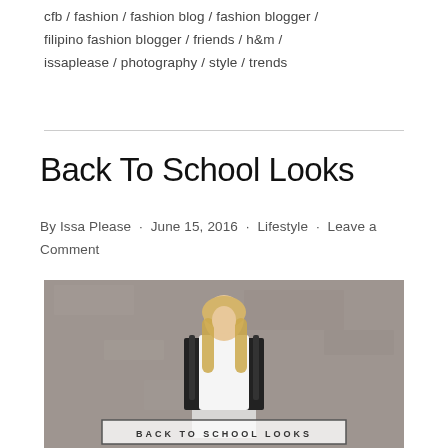cfb / fashion / fashion blog / fashion blogger / filipino fashion blogger / friends / h&m / issaplease / photography / style / trends
Back To School Looks
By Issa Please · June 15, 2016 · Lifestyle · Leave a Comment
[Figure (photo): A young woman with long blonde hair standing against a grey concrete wall, wearing a white dress/top with black straps, smiling. Text overlay at the bottom reads 'BACK TO SCHOOL LOOKS' in a bordered box.]